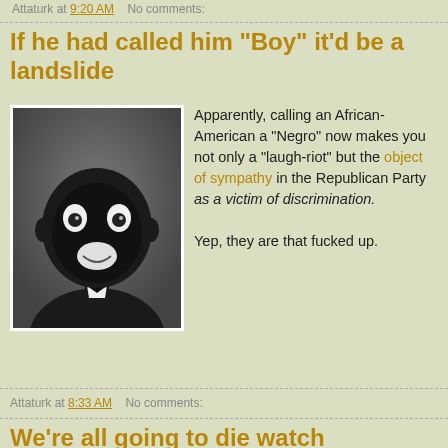Attaturk at 9:20 AM   No comments:
If he had called him "Boy" it'd be a landslide
[Figure (photo): Black and white photo of a person in blackface makeup, wide eyes, bow tie, looking at camera]
Apparently, calling an African-American a "Negro" now makes you not only a "laugh-riot" but the object of sympathy in the Republican Party as a victim of discrimination.

Yep, they are that fucked up.
Attaturk at 8:33 AM   No comments:
We're all going to die watch